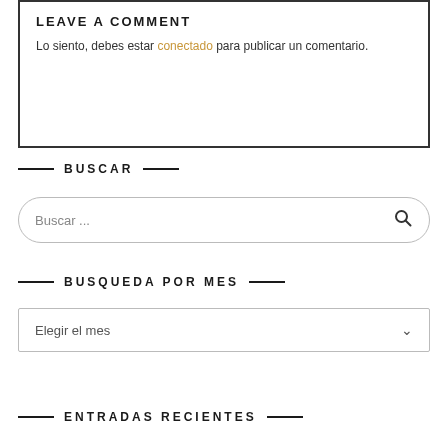LEAVE A COMMENT
Lo siento, debes estar conectado para publicar un comentario.
BUSCAR
Buscar ...
BUSQUEDA POR MES
Elegir el mes
ENTRADAS RECIENTES